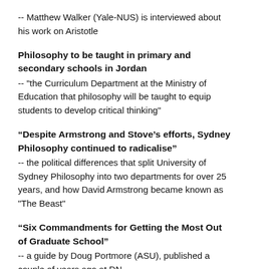-- Matthew Walker (Yale-NUS) is interviewed about his work on Aristotle
Philosophy to be taught in primary and secondary schools in Jordan
-- "the Curriculum Department at the Ministry of Education that philosophy will be taught to equip students to develop critical thinking"
“Despite Armstrong and Stove’s efforts, Sydney Philosophy continued to radicalise”
-- the political differences that split University of Sydney Philosophy into two departments for over 25 years, and how David Armstrong became known as "The Beast"
“Six Commandments for Getting the Most Out of Graduate School”
-- a guide by Doug Portmore (ASU), published a couple of years ago at DN...